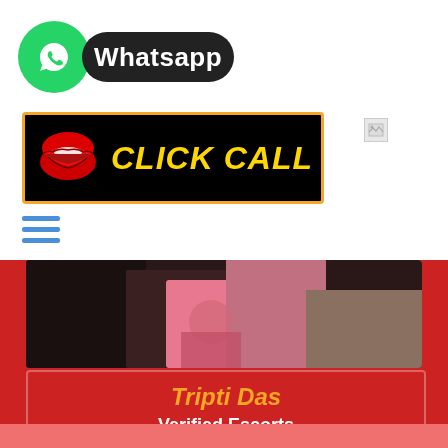[Figure (logo): WhatsApp logo with green circle and white chat icon, followed by black pill-shaped button with white text 'Whatsapp']
[Figure (other): Black banner with orange border showing red lips icon on left and yellow bold italic text 'CLICK CALL']
[Figure (other): Blue hamburger menu icon (three horizontal lines)]
[Figure (photo): Partial photo of a woman wearing pink and dark clothing with jewelry, cropped at shoulders/arms level]
Tripti Das
Verified Escorts